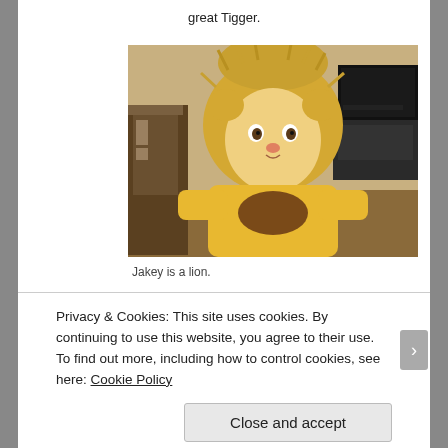great Tigger.
[Figure (photo): A young child dressed in a yellow lion Halloween costume with a mane hood, sitting indoors holding something, with furniture and a TV in the background.]
Jakey is a lion.
Privacy & Cookies: This site uses cookies. By continuing to use this website, you agree to their use.
To find out more, including how to control cookies, see here: Cookie Policy
Close and accept